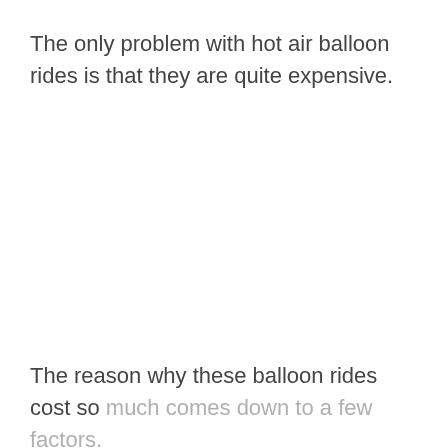The only problem with hot air balloon rides is that they are quite expensive.
The reason why these balloon rides cost so much comes down to a few factors.